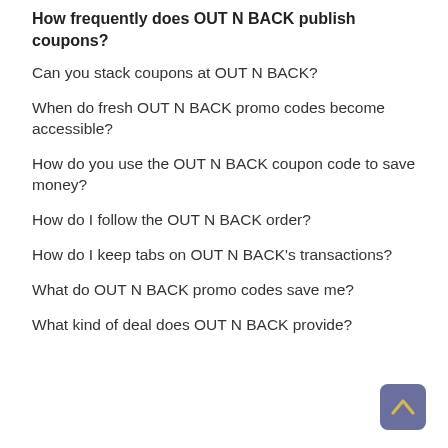How frequently does OUT N BACK publish coupons?
Can you stack coupons at OUT N BACK?
When do fresh OUT N BACK promo codes become accessible?
How do you use the OUT N BACK coupon code to save money?
How do I follow the OUT N BACK order?
How do I keep tabs on OUT N BACK's transactions?
What do OUT N BACK promo codes save me?
What kind of deal does OUT N BACK provide?